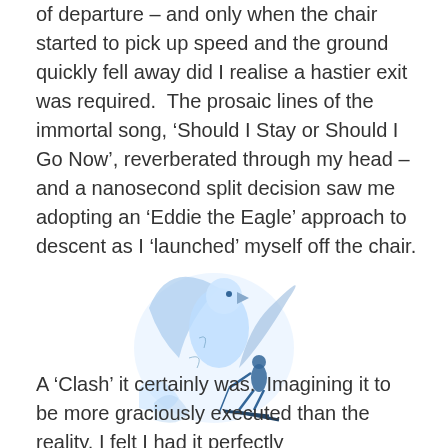of departure – and only when the chair started to pick up speed and the ground quickly fell away did I realise a hastier exit was required.  The prosaic lines of the immortal song, 'Should I Stay or Should I Go Now', reverberated through my head – and a nanosecond split decision saw me adopting an 'Eddie the Eagle' approach to descent as I 'launched' myself off the chair.
[Figure (illustration): Blue watercolor-style illustration of a skier launching off a ski jump with a swirling eagle or bird figure in blue tones.]
A 'Clash' it certainly was.  Imagining it to be more graciously executed than the reality, I felt I had it perfectly